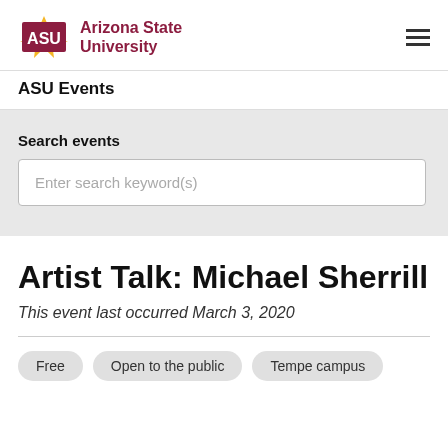ASU Arizona State University
ASU Events
Search events
Enter search keyword(s)
Artist Talk: Michael Sherrill
This event last occurred March 3, 2020
Free
Open to the public
Tempe campus